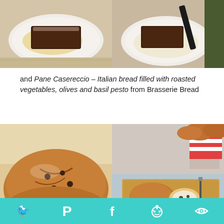[Figure (photo): Two side-by-side photos of a chocolate dessert on a white plate; left shows a chocolate brownie/terrine with powdered sugar, right shows the same dessert partially eaten with cream sauce]
and Pane Casereccio – Italian bread filled with roasted vegetables, olives and basil pesto from Brasserie Bread
[Figure (photo): Two side-by-side photos of Pane Casereccio Italian bread from Brasserie Bread; left shows a large round rustic bread loaf, right shows sliced bread rolls on a wooden board]
Twitter Pinterest Facebook Reddit Other (social share bar)